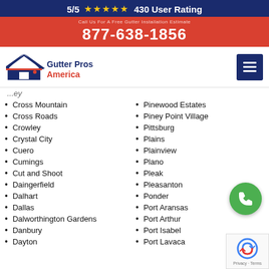5/5 ★★★★★ 430 User Rating
877-638-1856
[Figure (logo): Gutter Pros America logo with house roof icon and red text]
Cross Mountain
Cross Roads
Crowley
Crystal City
Cuero
Cumings
Cut and Shoot
Daingerfield
Dalhart
Dallas
Dalworthington Gardens
Danbury
Dayton
Pinewood Estates
Piney Point Village
Pittsburg
Plains
Plainview
Plano
Pleak
Pleasanton
Ponder
Port Aransas
Port Arthur
Port Isabel
Port Lavaca